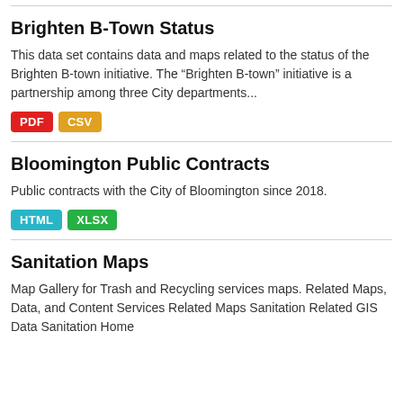Brighten B-Town Status
This data set contains data and maps related to the status of the Brighten B-town initiative. The “Brighten B-town” initiative is a partnership among three City departments...
PDF CSV
Bloomington Public Contracts
Public contracts with the City of Bloomington since 2018.
HTML XLSX
Sanitation Maps
Map Gallery for Trash and Recycling services maps. Related Maps, Data, and Content Services Related Maps Sanitation Related GIS Data Sanitation Home